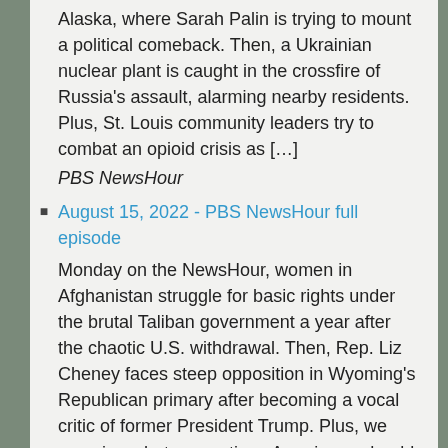Alaska, where Sarah Palin is trying to mount a political comeback. Then, a Ukrainian nuclear plant is caught in the crossfire of Russia's assault, alarming nearby residents. Plus, St. Louis community leaders try to combat an opioid crisis as […]
PBS NewsHour
August 15, 2022 - PBS NewsHour full episode
Monday on the NewsHour, women in Afghanistan struggle for basic rights under the brutal Taliban government a year after the chaotic U.S. withdrawal. Then, Rep. Liz Cheney faces steep opposition in Wyoming's Republican primary after becoming a vocal critic of former President Trump. Plus, we examine what precautions Americans should take after the CDC loosens […]
PBS NewsHour
August 14, 2022 - PBS News Weekend full